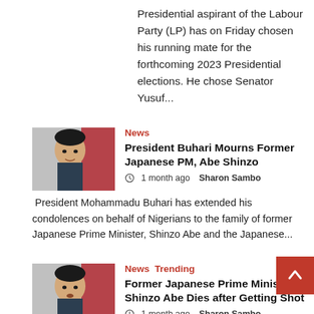Presidential aspirant of the Labour Party (LP) has on Friday chosen his running mate for the forthcoming 2023 Presidential elections. He chose Senator Yusuf...
News
President Buhari Mourns Former Japanese PM, Abe Shinzo
1 month ago  Sharon Sambo
President Mohammadu Buhari has extended his condolences on behalf of Nigerians to the family of former Japanese Prime Minister, Shinzo Abe and the Japanese...
News  Trending
Former Japanese Prime Minister Shinzo Abe Dies after Getting Shot
1 month ago  Sharon Sambo
It has been reported that former Prime minister of Japan, Shinzo Abe of 7 how died his shortly left